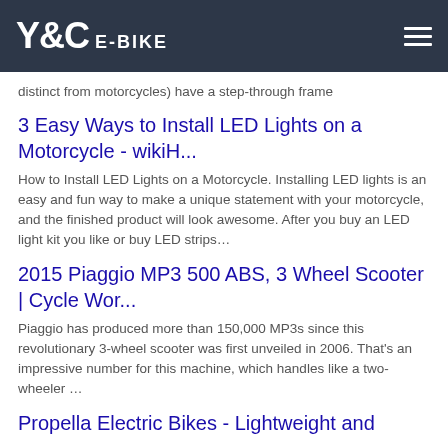Y&C E-BIKE
distinct from motorcycles) have a step-through frame
3 Easy Ways to Install LED Lights on a Motorcycle - wikiH...
How to Install LED Lights on a Motorcycle. Installing LED lights is an easy and fun way to make a unique statement with your motorcycle, and the finished product will look awesome. After you buy an LED light kit you like or buy LED strips…
2015 Piaggio MP3 500 ABS, 3 Wheel Scooter | Cycle Wor...
Piaggio has produced more than 150,000 MP3s since this revolutionary 3-wheel scooter was first unveiled in 2006. That's an impressive number for this machine, which handles like a two-wheeler …
Propella Electric Bikes - Lightweight and